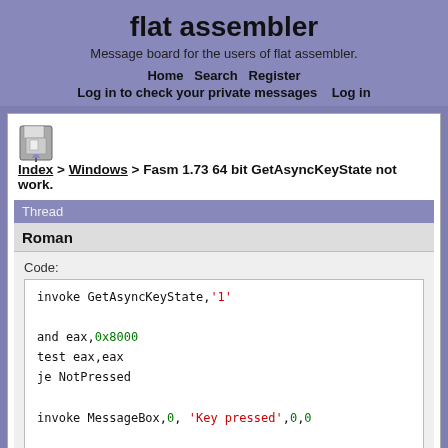flat assembler
Message board for the users of flat assembler.
Home   Search   Register   Log in to check your private messages   Log in
Index > Windows > Fasm 1.73 64 bit GetAsyncKeyState not work.
Thread
Roman
Code:
invoke GetAsyncKeyState,'1'

and eax,0x8000
test eax,eax
je NotPressed

invoke MessageBox,0, 'Key pressed',0,0

NotPressed: